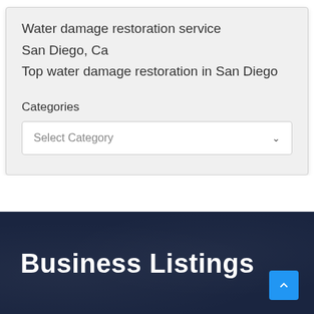Water damage restoration service
San Diego, Ca
Top water damage restoration in San Diego
Categories
[Figure (screenshot): A dropdown select box with placeholder text 'Select Category' and a chevron arrow on the right]
Business Listings